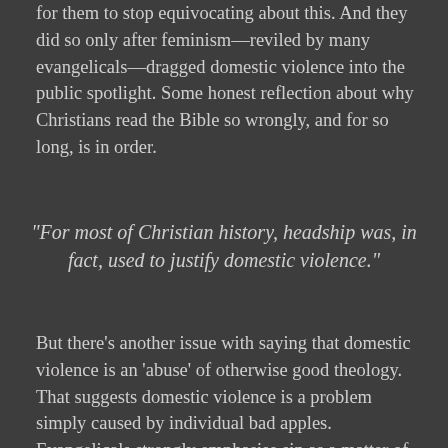for them to stop equivocating about this. And they did so only after feminism—reviled by many evangelicals—dragged domestic violence into the public spotlight. Some honest reflection about why Christians read the Bible so wrongly, and for so long, is in order.
"For most of Christian history, headship was, in fact, used to justify domestic violence."
But there's another issue with saying that domestic violence is an 'abuse' of otherwise good theology. That suggests domestic violence is a problem simply caused by individual bad apples. Evangelicals strongly emphasise sin as a matter of individual responsibility: if I do the wrong thing, that was my choice alone.